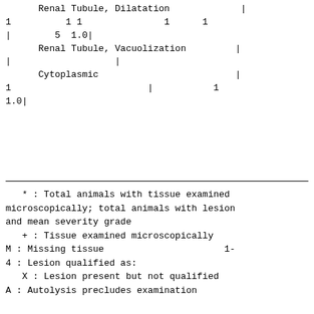| Renal Tubule, Dilatation | | |
| 1 | 1 1 | 1 | 1 |
| | | 5  1.0| |
| Renal Tubule, Vacuolization | | |
| | | | |
| Cytoplasmic | | |
| 1 | | | 1 |
| 1.0| |
* : Total animals with tissue examined microscopically; total animals with lesion and mean severity grade
   + : Tissue examined microscopically
M : Missing tissue                        1-
4 : Lesion qualified as:
   X : Lesion present but not qualified
A : Autolysis precludes examination